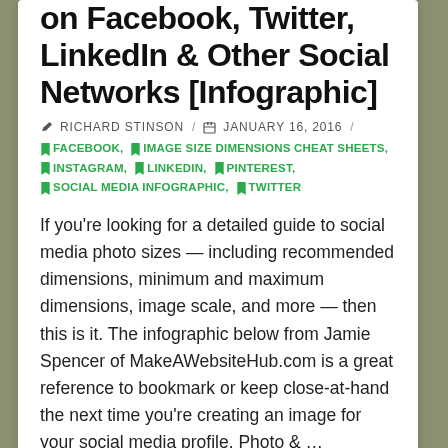on Facebook, Twitter, LinkedIn & Other Social Networks [Infographic]
✏ RICHARD STINSON / 📅 JANUARY 16, 2016 /
FACEBOOK, IMAGE SIZE DIMENSIONS CHEAT SHEETS, INSTAGRAM, LINKEDIN, PINTEREST, SOCIAL MEDIA INFOGRAPHIC, TWITTER
If you're looking for a detailed guide to social media photo sizes — including recommended dimensions, minimum and maximum dimensions, image scale, and more — then this is it. The infographic below from Jamie Spencer of MakeAWebsiteHub.com is a great reference to bookmark or keep close-at-hand the next time you're creating an image for your social media profile. Photo & ...
Read More